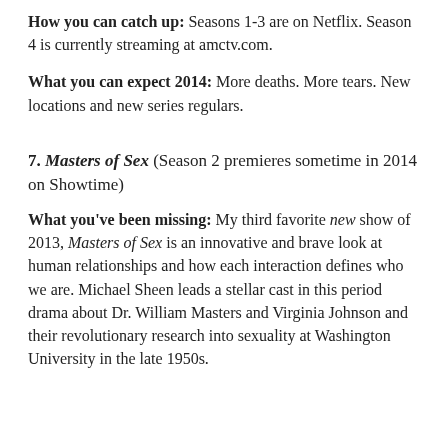How you can catch up: Seasons 1-3 are on Netflix. Season 4 is currently streaming at amctv.com.
What you can expect 2014: More deaths. More tears. New locations and new series regulars.
7. Masters of Sex (Season 2 premieres sometime in 2014 on Showtime)
What you've been missing: My third favorite new show of 2013, Masters of Sex is an innovative and brave look at human relationships and how each interaction defines who we are. Michael Sheen leads a stellar cast in this period drama about Dr. William Masters and Virginia Johnson and their revolutionary research into sexuality at Washington University in the late 1950s.